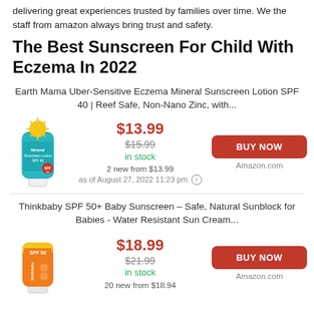delivering great experiences trusted by families over time. We the staff from amazon always bring trust and safety.
The Best Sunscreen For Child With Eczema In 2022
Earth Mama Uber-Sensitive Eczema Mineral Sunscreen Lotion SPF 40 | Reef Safe, Non-Nano Zinc, with...
[Figure (photo): Earth Mama sunscreen lotion tube, teal/blue color with sun graphic]
$13.99 $15.99 in stock 2 new from $13.99 as of August 27, 2022 11:23 pm
BUY NOW Amazon.com
Thinkbaby SPF 50+ Baby Sunscreen – Safe, Natural Sunblock for Babies - Water Resistant Sun Cream...
[Figure (photo): Thinkbaby sunscreen tube, orange and yellow color with SPF 50 label]
$18.99 $21.99 in stock 20 new from $18.94
BUY NOW Amazon.com